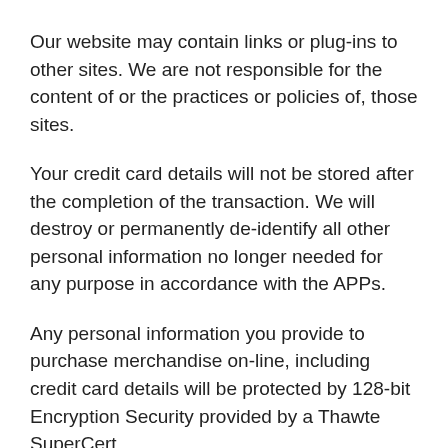Our website may contain links or plug-ins to other sites. We are not responsible for the content of or the practices or policies of, those sites.
Your credit card details will not be stored after the completion of the transaction. We will destroy or permanently de-identify all other personal information no longer needed for any purpose in accordance with the APPs.
Any personal information you provide to purchase merchandise on-line, including credit card details will be protected by 128-bit Encryption Security provided by a Thawte SuperCert.
To view this site securely, you need a browser that supports the SSL security protocol. These browsers will indicate whether or not the site is secure by